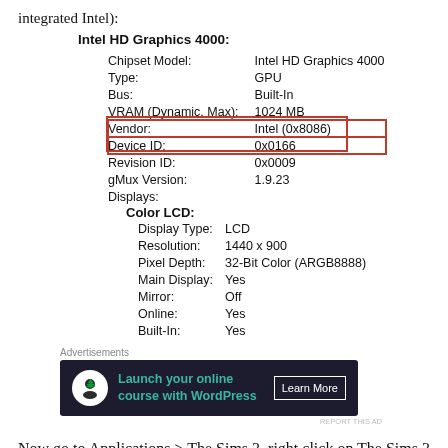integrated Intel):
Intel HD Graphics 4000:
| Chipset Model: | Intel HD Graphics 4000 |
| Type: | GPU |
| Bus: | Built-In |
| VRAM (Dynamic, Max): | 1024 MB |
| Vendor: | Intel (0x8086) |
| Device ID: | 0x0166 |
| Revision ID: | 0x0009 |
| gMux Version: | 1.9.23 |
| Displays: |  |
| Color LCD: |  |
| Display Type: | LCD |
| Resolution: | 1440 x 900 |
| Pixel Depth: | 32-Bit Color (ARGB8888) |
| Main Display: | Yes |
| Mirror: | Off |
| Online: | Yes |
| Built-In: | Yes |
[Figure (infographic): Advertisement banner with dark background showing 'Launch your online course with WordPress' with a Learn More button and tree/person icon]
Now go to Applications > The Sims 3, right click on The Sims 3 base game and select Show Package Contents. Navigate to